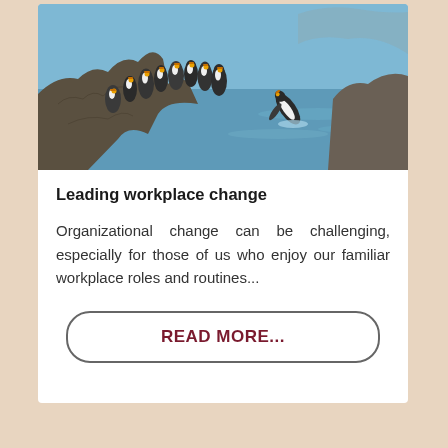[Figure (photo): A group of king penguins standing on rocky coastal terrain, with one penguin diving or jumping into blue water, with a rocky outcrop visible in the background]
Leading workplace change
Organizational change can be challenging, especially for those of us who enjoy our familiar workplace roles and routines...
READ MORE...